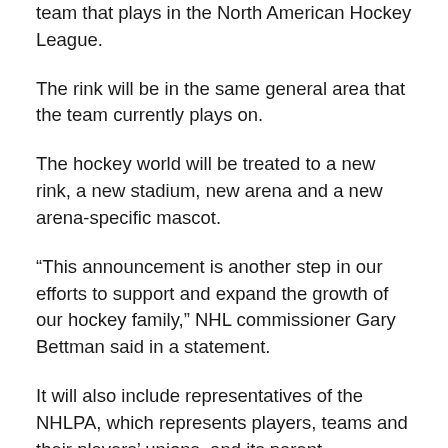team that plays in the North American Hockey League.
The rink will be in the same general area that the team currently plays on.
The hockey world will be treated to a new rink, a new stadium, new arena and a new arena-specific mascot.
“This announcement is another step in our efforts to support and expand the growth of our hockey family,” NHL commissioner Gary Bettman said in a statement.
It will also include representatives of the NHLPA, which represents players, teams and their players’ unions, and its parent organization, the